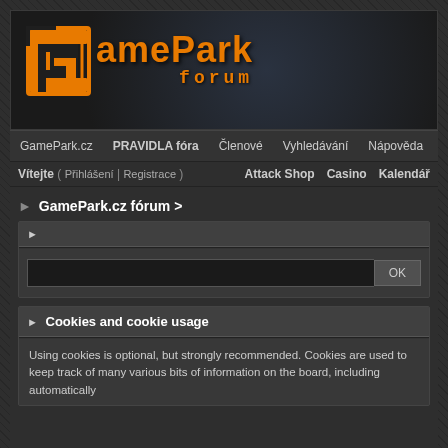[Figure (logo): GamePark Forum logo with orange stylized G icon and orange text reading 'GamePark forum' on dark background]
GamePark.cz | PRAVIDLA fóra | Členové | Vyhledávání | Nápověda
Vítejte ( Přihlášení | Registrace ) | Attack Shop | Casino | Kalendář
► GamePark.cz fórum >
►
OK
► Cookies and cookie usage
Using cookies is optional, but strongly recommended. Cookies are used to keep track of many various bits of information on the board, including automatically